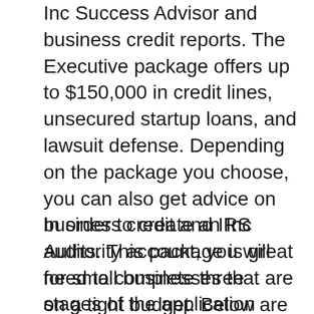Inc Success Advisor and business credit reports. The Executive package offers up to $150,000 in credit lines, unsecured startup loans, and lawsuit defense. Depending on the package you choose, you can also get advice on business credit and IRS audits. This package is great for small businesses that are on a tight budget. Below are the details of each package.
In order to create an Inc Authority account, you will need to complete three stages of the application process. The entire process should take less than 10 minutes. The first stage requires you to specify your business entity and state. While most people choose an LLC, sole proprietorship or other business structure, you can also choose to form a